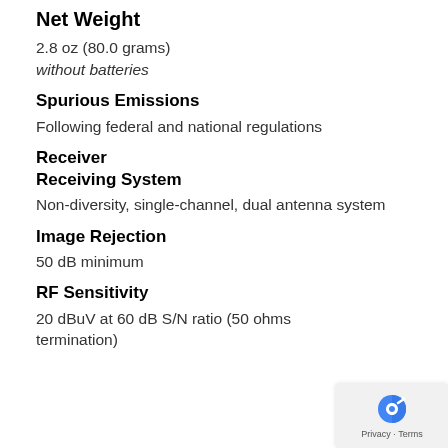Net Weight
2.8 oz (80.0 grams)
without batteries
Spurious Emissions
Following federal and national regulations
Receiver
Receiving System
Non-diversity, single-channel, dual antenna system
Image Rejection
50 dB minimum
RF Sensitivity
20 dBuV at 60 dB S/N ratio (50 ohms termination)